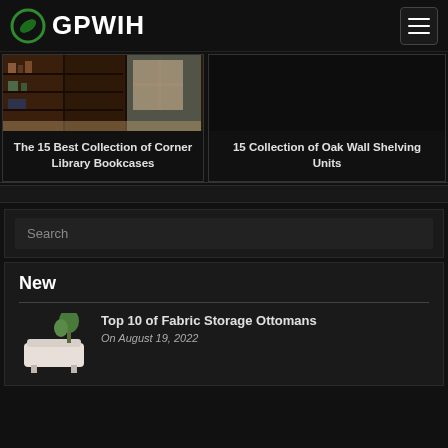GPWIH
[Figure (photo): Bookcase/library corner photo showing dark wood shelving units]
The 15 Best Collection of Corner Library Bookcases
15 Collection of Oak Wall Shelving Units
Search
New
[Figure (photo): White fabric storage ottoman]
Top 10 of Fabric Storage Ottomans
On August 19, 2022